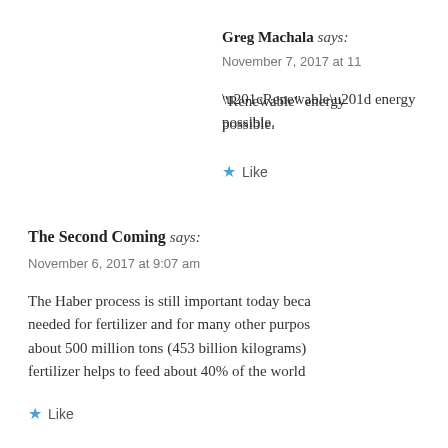Greg Machala says:
November 7, 2017 at 11
“Renewable” energy possible.
Like
The Second Coming says:
November 6, 2017 at 9:07 am
The Haber process is still important today beca needed for fertilizer and for many other purpos about 500 million tons (453 billion kilograms) fertilizer helps to feed about 40% of the world
Like